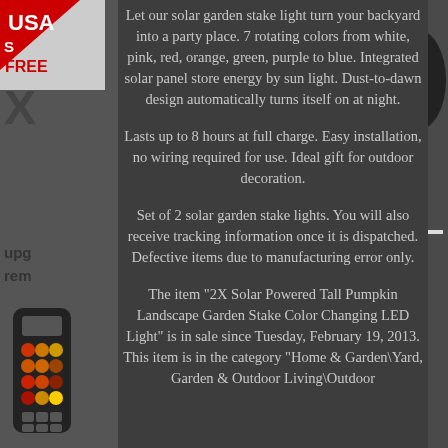[Figure (screenshot): Product listing page screenshot showing solar garden stake light description on dark background, with USA badge and remote control image on the left side]
Let our solar garden stake light turn your backyard into a party place. 7 rotating colors from white, pink, red, orange, green, purple to blue. Integrated solar panel store energy by sun light. Dust-to-dawn design automatically turns itself on at night.
Lasts up to 8 hours at full charge. Easy installation, no wiring required for use. Ideal gift for outdoor decoration.
Set of 2 solar garden stake lights. You will also receive tracking information once it is dispatched. Defective items due to manufacturing error only.
The item "2X Solar Powered Tall Pumpkin Landscape Garden Stake Color Changing LED Light" is in sale since Tuesday, February 19, 2013. This item is in the category "Home & Garden\Yard, Garden & Outdoor Living\Outdoor